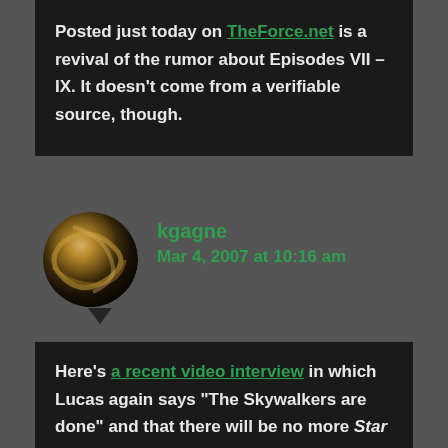Posted just today on TheForce.net is a revival of the rumor about Episodes VII – IX. It doesn't come from a verifiable source, though.
kgagne
Mar 4, 2007 at 10:16 am
Here's a recent video interview in which Lucas again says "The Skywalkers are done" and that there will be no more Star Wars films.